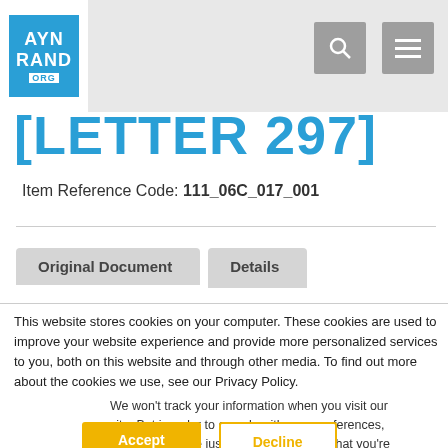AYN RAND ORG
[LETTER 297]
Item Reference Code: 111_06C_017_001
Original Document   Details
This website stores cookies on your computer. These cookies are used to improve your website experience and provide more personalized services to you, both on this website and through other media. To find out more about the cookies we use, see our Privacy Policy.
We won't track your information when you visit our site. But in order to comply with your preferences, we'll have to use just one tiny cookie so that you're not asked to make this choice again.
Accept   Decline